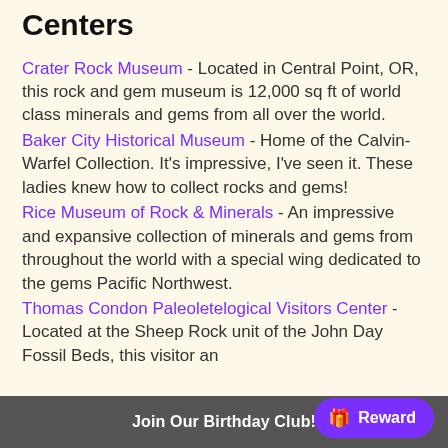Centers
Crater Rock Museum - Located in Central Point, OR, this rock and gem museum is 12,000 sq ft of world class minerals and gems from all over the world.
Baker City Historical Museum - Home of the Calvin-Warfel Collection. It's impressive, I've seen it. These ladies knew how to collect rocks and gems!
Rice Museum of Rock & Minerals - An impressive and expansive collection of minerals and gems from throughout the world with a special wing dedicated to the gems Pacific Northwest.
Thomas Condon Paleoletelogical Visitors Center - Located at the Sheep Rock unit of the John Day Fossil Beds, this visitor an...
Join Our Birthday Club!